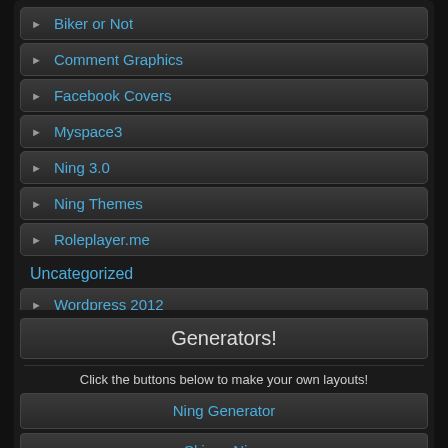▶ Biker or Not
▶ Comment Graphics
▶ Facebook Covers
▶ Myspace3
▶ Ning 3.0
▶ Ning Themes
▶ Roleplayer.me
Uncategorized
▶ Wordpress 2012
Generators!
Click the buttons below to make your own layouts!
Ning Generator
Skinny Ning